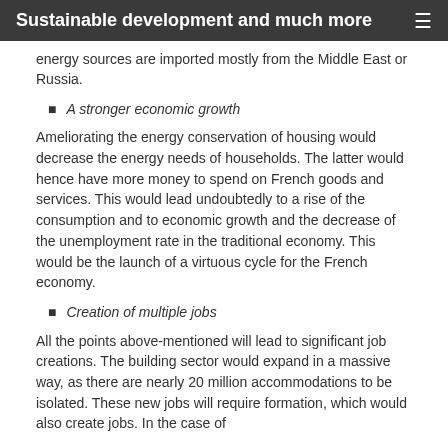Sustainable development and much more
energy sources are imported mostly from the Middle East or Russia.
A stronger economic growth
Ameliorating the energy conservation of housing would decrease the energy needs of households. The latter would hence have more money to spend on French goods and services. This would lead undoubtedly to a rise of the consumption and to economic growth and the decrease of the unemployment rate in the traditional economy. This would be the launch of a virtuous cycle for the French economy.
Creation of multiple jobs
All the points above-mentioned will lead to significant job creations. The building sector would expand in a massive way, as there are nearly 20 million accommodations to be isolated. These new jobs will require formation, which would also create jobs. In the case of